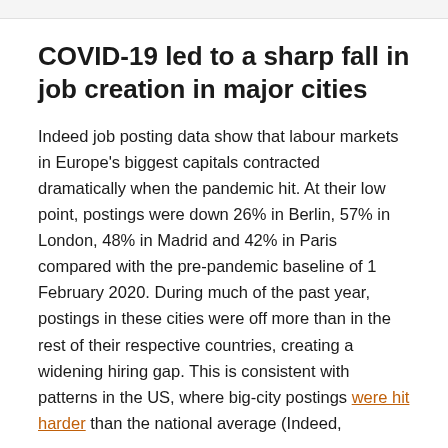COVID-19 led to a sharp fall in job creation in major cities
Indeed job posting data show that labour markets in Europe's biggest capitals contracted dramatically when the pandemic hit. At their low point, postings were down 26% in Berlin, 57% in London, 48% in Madrid and 42% in Paris compared with the pre-pandemic baseline of 1 February 2020. During much of the past year, postings in these cities were off more than in the rest of their respective countries, creating a widening hiring gap. This is consistent with patterns in the US, where big-city postings were hit harder than the national average (Indeed,